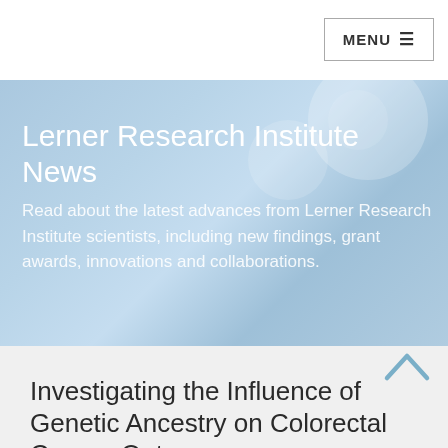MENU ☰
Lerner Research Institute News
Read about the latest advances from Lerner Research Institute scientists, including new findings, grant awards, innovations and collaborations.
Investigating the Influence of Genetic Ancestry on Colorectal Cancer Outcomes